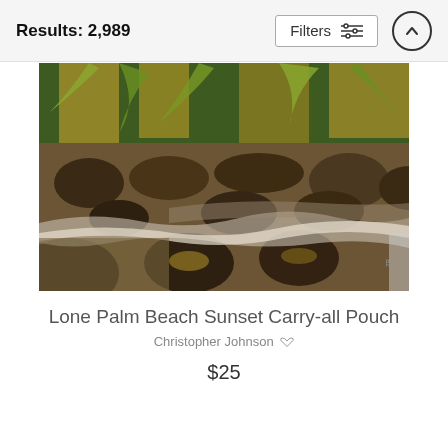Results: 2,989
Filters
[Figure (photo): A scenic black sand beach at sunset with volcanic rocks in the foreground, waves washing ashore, and tropical palm trees in the background bathed in golden light. The beach appears to be on Hawaii's Big Island.]
Lone Palm Beach Sunset Carry-all Pouch
Christopher Johnson
$25